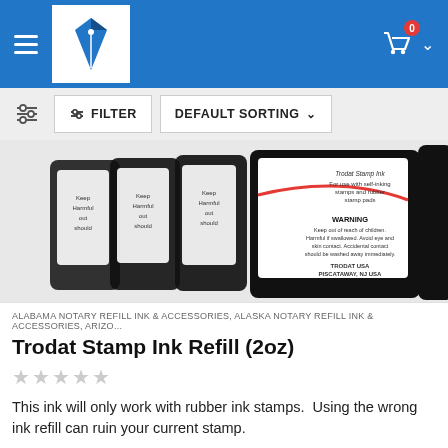Navigation header with logo and cart
[Figure (screenshot): E-commerce website header with blue background, hamburger menu, pen/quill logo in white box, and shopping cart icon with 0 badge]
[Figure (screenshot): Filter bar with sliders icon, FILTER button, and DEFAULT SORTING dropdown]
[Figure (photo): Multiple Trodat stamp ink refill bottles lined up showing labels with WARNING text]
ALABAMA NOTARY REFILL INK & ACCESSORIES, ALASKA NOTARY REFILL INK & ACCESSORIES, ARIZO...
Trodat Stamp Ink Refill (2oz)
This ink will only work with rubber ink stamps.  Using the wrong ink refill can ruin your current stamp.
$4.99